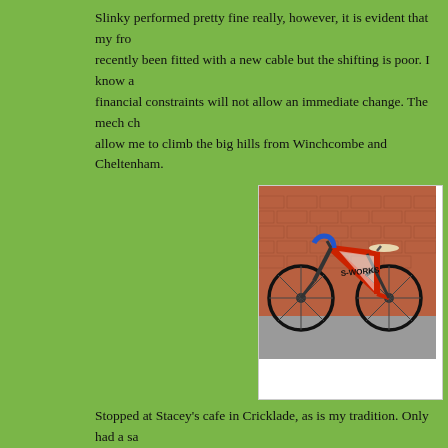Slinky performed pretty fine really, however, it is evident that my fro... recently been fitted with a new cable but the shifting is poor. I know a... financial constraints will not allow an immediate change. The mech ch... allow me to climb the big hills from Winchcombe and Cheltenham.
[Figure (photo): A red and white Specialized S-Works road bike with blue handlebar tape leaning against a brick wall.]
Slinky, re-born
Stopped at Stacey's cafe in Cricklade, as is my tradition. Only had a sa...